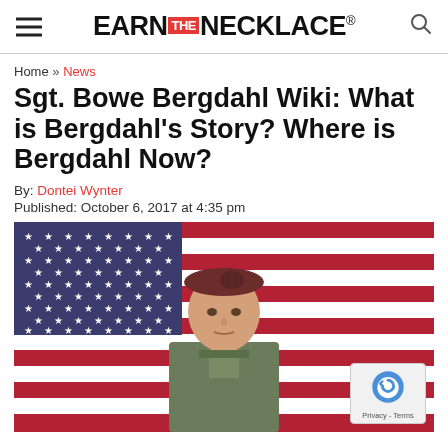EARN THE NECKLACE®
Home » News
Sgt. Bowe Bergdahl Wiki: What is Bergdahl's Story? Where is Bergdahl Now?
By: Dontei Wynter
Published: October 6, 2017 at 4:35 pm
[Figure (photo): Sgt. Bowe Bergdahl in military uniform wearing a maroon beret, standing in front of an American flag]